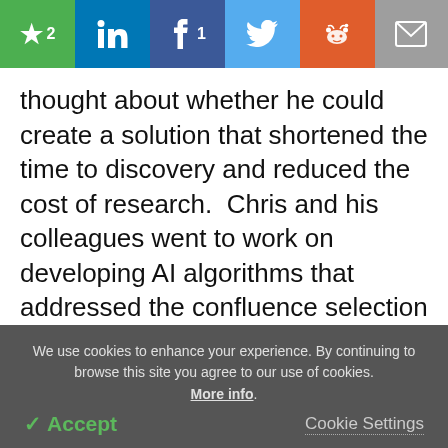[Figure (screenshot): Social sharing toolbar with star/bookmark (green, count 2), LinkedIn (blue), Facebook (blue, count 1), Twitter (light blue), Reddit (orange), and email/mail (gray) buttons]
thought about whether he could create a solution that shortened the time to discovery and reduced the cost of research.  Chris and his colleagues went to work on developing AI algorithms that addressed the confluence selection process.  The result of their efforts was a successful selection rate of 90%.
[Figure (screenshot): Advertisement area showing the AZo logo in red with a network/molecule watermark background and a close (x) button in top right]
We use cookies to enhance your experience. By continuing to browse this site you agree to our use of cookies. More info. Accept  Cookie Settings